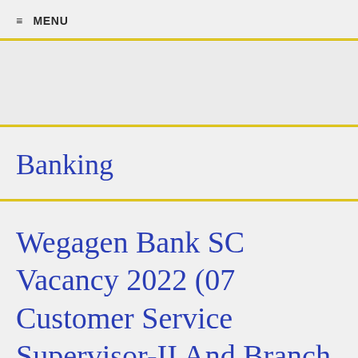≡ MENU
Banking
Wegagen Bank SC Vacancy 2022 (07 Customer Service Supervisor-II And Branch